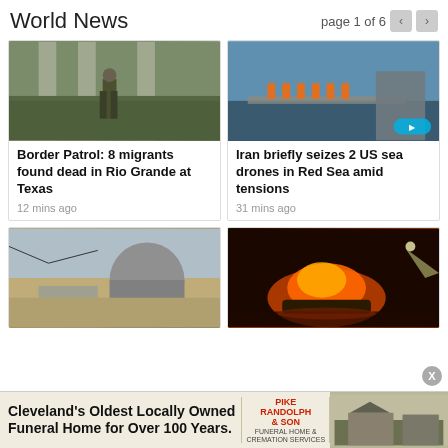World News  page 1 of 6
[Figure (photo): Soldier in camouflage standing under concrete pillars near a river]
Border Patrol: 8 migrants found dead in Rio Grande at Texas
12 mins ago
[Figure (photo): People in orange life vests on a naval vessel deck, Red Sea]
Iran briefly seizes 2 US sea drones in Red Sea amid tensions
31 mins ago
[Figure (photo): Nuclear power plant dome building with brown hillside]
[Figure (photo): Boat on fire on dark water at night with bright orange flames]
Cleveland's Oldest Locally Owned Funeral Home for Over 100 Years.